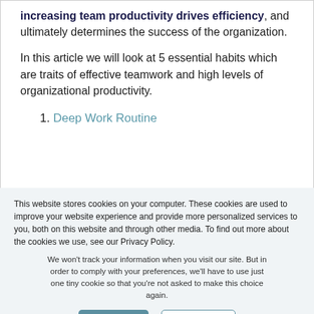increasing team productivity drives efficiency, and ultimately determines the success of the organization.
In this article we will look at 5 essential habits which are traits of effective teamwork and high levels of organizational productivity.
1. Deep Work Routine
This website stores cookies on your computer. These cookies are used to improve your website experience and provide more personalized services to you, both on this website and through other media. To find out more about the cookies we use, see our Privacy Policy.
We won't track your information when you visit our site. But in order to comply with your preferences, we'll have to use just one tiny cookie so that you're not asked to make this choice again.